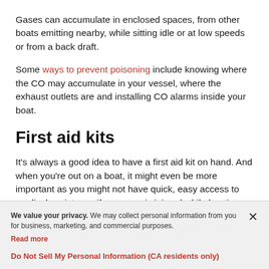Gases can accumulate in enclosed spaces, from other boats emitting nearby, while sitting idle or at low speeds or from a back draft.
Some ways to prevent poisoning include knowing where the CO may accumulate in your vessel, where the exhaust outlets are and installing CO alarms inside your boat.
First aid kits
It's always a good idea to have a first aid kit on hand. And when you're out on a boat, it might even be more important as you might not have quick, easy access to medical assistance if someone is injured while boating. You'll want to
We value your privacy. We may collect personal information from you for business, marketing, and commercial purposes. Read more
Do Not Sell My Personal Information (CA residents only)